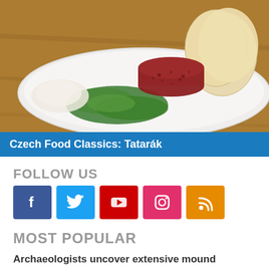[Figure (photo): A white plate with raw beef tartare (tatarák) shaped into a cylinder, garnished with fresh green arugula leaves and white onion, served with sliced bread on a wooden table.]
Czech Food Classics: Tatarák
FOLLOW US
[Figure (infographic): Social media icons: Facebook (blue), Twitter (light blue), YouTube (red), Instagram (pink), RSS (orange)]
MOST POPULAR
Archaeologists uncover extensive mound